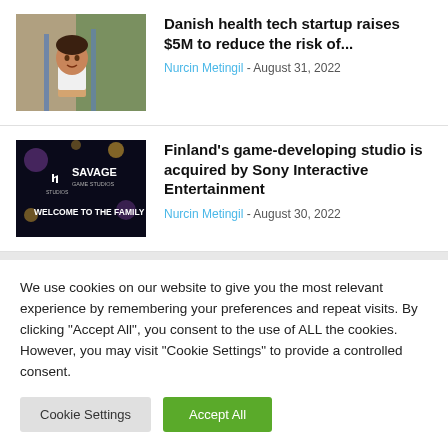[Figure (photo): Young child smiling, standing outdoors]
Danish health tech startup raises $5M to reduce the risk of...
Nurcin Metingil - August 31, 2022
[Figure (photo): Dark promotional image for Savage Game Studios with PlayStation branding and text WELCOME TO THE FAMILY]
Finland's game-developing studio is acquired by Sony Interactive Entertainment
Nurcin Metingil - August 30, 2022
We use cookies on our website to give you the most relevant experience by remembering your preferences and repeat visits. By clicking "Accept All", you consent to the use of ALL the cookies. However, you may visit "Cookie Settings" to provide a controlled consent.